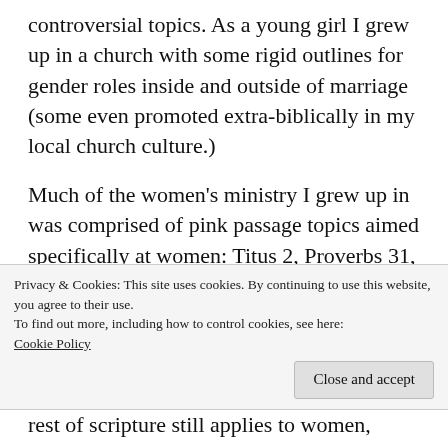controversial topics. As a young girl I grew up in a church with some rigid outlines for gender roles inside and outside of marriage (some even promoted extra-biblically in my local church culture.)
Much of the women's ministry I grew up in was comprised of pink passage topics aimed specifically at women: Titus 2, Proverbs 31, being keepers of the home, the submissive wife, a quiet and gentle spirit, domesticity, and
Privacy & Cookies: This site uses cookies. By continuing to use this website, you agree to their use.
To find out more, including how to control cookies, see here: Cookie Policy
rest of scripture still applies to women, because